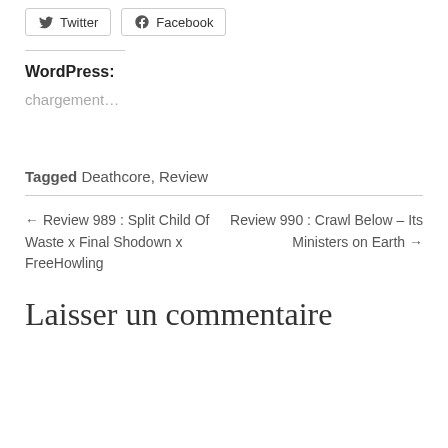[Figure (screenshot): Social share buttons for Twitter and Facebook]
WordPress:
chargement...
Tagged Deathcore, Review
← Review 989 : Split Child Of Waste x Final Shodown x FreeHowling
Review 990 : Crawl Below – Its Ministers on Earth →
Laisser un commentaire